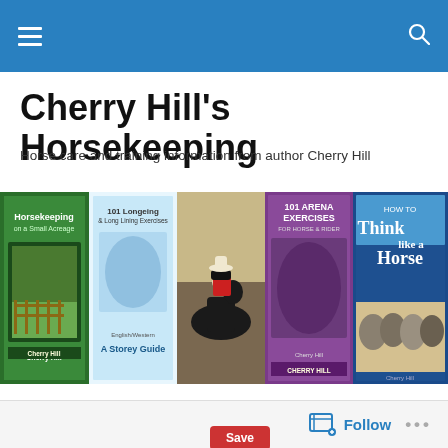Cherry Hill's Horsekeeping — navigation bar
Cherry Hill's Horsekeeping
Horse care and training information from author Cherry Hill
[Figure (photo): A horizontal banner showing five book covers by Cherry Hill: Horsekeeping on a Small Acreage, 101 Longeing & Long Lining Exercises, a photo of Cherry Hill on horseback, 101 Arena Exercises for Horse & Rider, and How to Think Like a Horse.]
TAGGED WITH HORSE BLANKET
Horse Coolers
Follow